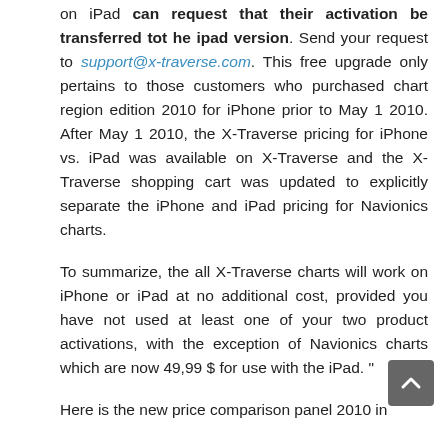on iPad can request that their activation be transferred tot he ipad version. Send your request to support@x-traverse.com. This free upgrade only pertains to those customers who purchased chart region edition 2010 for iPhone prior to May 1 2010. After May 1 2010, the X-Traverse pricing for iPhone vs. iPad was available on X-Traverse and the X-Traverse shopping cart was updated to explicitly separate the iPhone and iPad pricing for Navionics charts.
To summarize, the all X-Traverse charts will work on iPhone or iPad at no additional cost, provided you have not used at least one of your two product activations, with the exception of Navionics charts which are now 49,99 $ for use with the iPad. "
Here is the new price comparison panel 2010 in